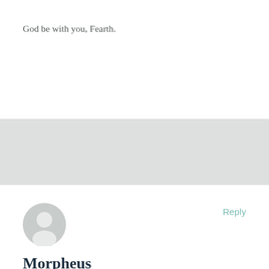God be with you, Fearth.
Reply
Morpheus
October 19, 2006 at 6:37 pm
One other thing.
Don't look alone. Get a spiritual brother to